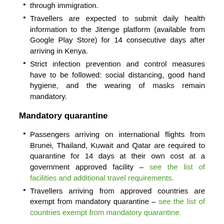through immigration.
Travellers are expected to submit daily health information to the Jitenge platform (available from Google Play Store) for 14 consecutive days after arriving in Kenya.
Strict infection prevention and control measures have to be followed: social distancing, good hand hygiene, and the wearing of masks remain mandatory.
Mandatory quarantine
Passengers arriving on international flights from Brunei, Thailand, Kuwait and Qatar are required to quarantine for 14 days at their own cost at a government approved facility – see the list of facilities and additional travel requirements.
Travellers arriving from approved countries are exempt from mandatory quarantine – see the list of countries exempt from mandatory quarantine.
Health screening & COVID-19 protocols on departure
Passengers departing Kenya are required to have a Trusted Travel (TT) code for their COVID-19 test certificates if their destination countries, airlines or transit airports require PCR